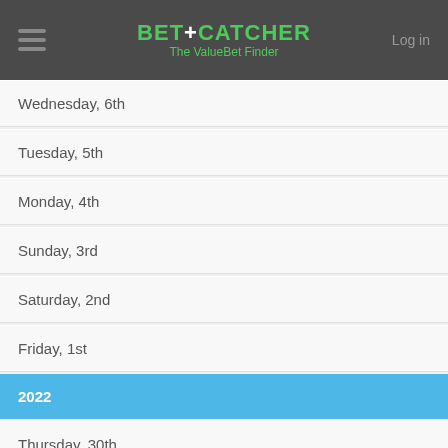BET+CATCHER The ValueBet Finder
Wednesday, 6th
Tuesday, 5th
Monday, 4th
Sunday, 3rd
Saturday, 2nd
Friday, 1st
2022
Thursday, 30th
Wednesday, 29th
Tuesday, 28th
Monday, 27th
Sunday, 26th
Saturday, 25th